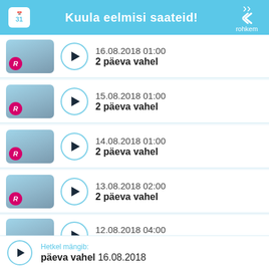Kuula eelmisi saateid! rohkem
16.08.2018 01:00 2 päeva vahel
15.08.2018 01:00 2 päeva vahel
14.08.2018 01:00 2 päeva vahel
13.08.2018 02:00 2 päeva vahel
12.08.2018 04:00 2 päeva vahel
Hetkel mängib: päeva vahel 16.08.2018